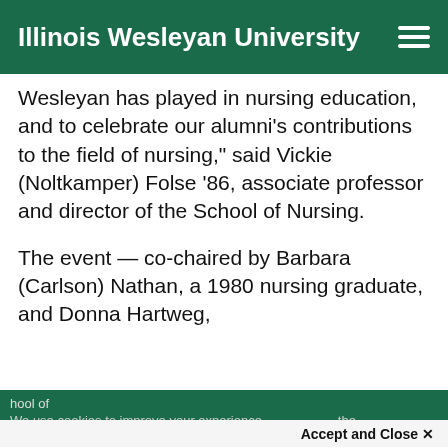Illinois Wesleyan University
Wesleyan has played in nursing education, and to celebrate our alumni’s contributions to the field of nursing,” said Vickie (Noltkamper) Folse ’86, associate professor and director of the School of Nursing.
The event — co-chaired by Barbara (Carlson) Nathan, a 1980 nursing graduate, and Donna Hartweg,
hool of
We use cookies to improve your experience on our website. By continuing to use our site, the
Accept and Close ×
Your browser settings do not allow cross-site tracking for advertising. Click on this page to allow AdRoll to use cross-site tracking to tailor ads to you. Learn more or opt out of this AdRoll tracking by clicking here. This message only appears once.